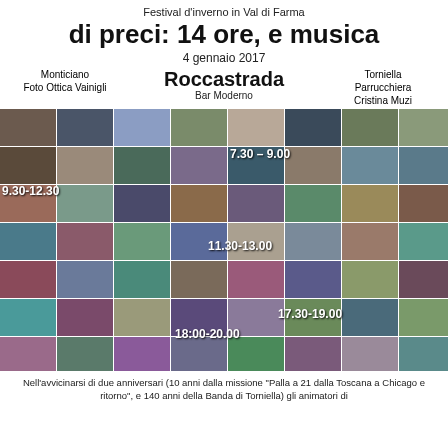Festival d'inverno in Val di Farma
di preci: 14 ore, e musica
4 gennaio 2017
Monticiano
Foto Ottica Vainigli
Roccastrada
Bar Moderno
Torniella
Parrucchiera Cristina Muzi
[Figure (photo): Mosaic collage of many small photos showing various scenes including people, places, and events. Time labels overlaid: 7.30-9.00, 9.30-12.30, 11.30-13.00, 17.30-19.00, 18:00-20.00]
Nell'avvicinarsi di due anniversari (10 anni dalla missione "Palla a 21 dalla Toscana a Chicago e ritorno", e 140 anni della Banda di Torniella) gli animatori di